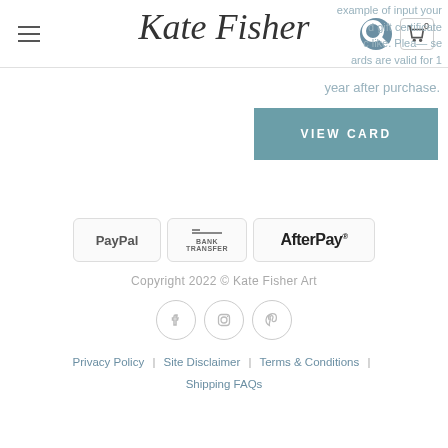Kate Fisher (logo/header with hamburger menu, search icon, and cart icon showing 0)
year after purchase.
VIEW CARD
[Figure (logo): Payment method logos: PayPal, Bank Transfer, AfterPay]
Copyright 2022 © Kate Fisher Art
[Figure (illustration): Social media icons: Facebook, Instagram, Pinterest]
Privacy Policy | Site Disclaimer | Terms & Conditions | Shipping FAQs